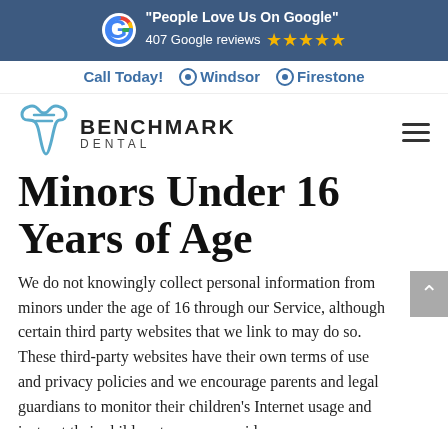[Figure (infographic): Google review banner with Google G logo, 'People Love Us On Google' text, 407 Google reviews and 5 gold stars, on a dark blue background]
Call Today! ⊙ Windsor ⊙ Firestone
[Figure (logo): Benchmark Dental logo with blue tooth icon and BENCHMARK DENTAL text]
Minors Under 16 Years of Age
We do not knowingly collect personal information from minors under the age of 16 through our Service, although certain third party websites that we link to may do so. These third-party websites have their own terms of use and privacy policies and we encourage parents and legal guardians to monitor their children's Internet usage and instruct their children to never provide